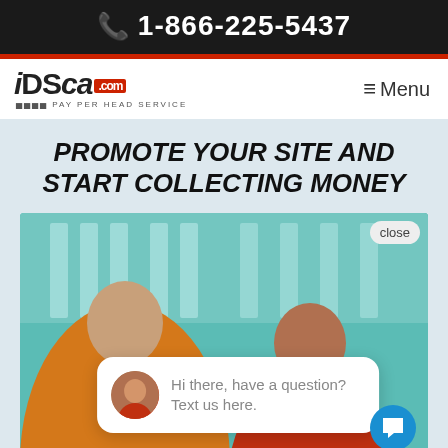1-866-225-5437
[Figure (logo): iDSca.com Pay Per Head Service logo]
≡ Menu
Promote your site and start collecting money
[Figure (photo): Two men outdoors, one wearing a yellow shirt and one in red, in front of glass building. Chat bubble overlay: 'Hi there, have a question? Text us here.' with close button and chat icon.]